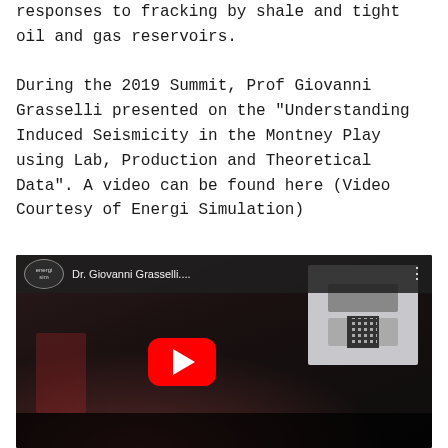responses to fracking by shale and tight oil and gas reservoirs.

During the 2019 Summit, Prof Giovanni Grasselli presented on the “Understanding Induced Seismicity in the Montney Play using Lab, Production and Theoretical Data”. A video can be found here (Video Courtesy of Energi Simulation)
[Figure (screenshot): YouTube video thumbnail showing Dr. Giovanni Grasselli presenting at the 2019 Energi Simulation Summit. The video player shows a dark conference hall scene with a red YouTube play button in the center, an 'energi' logo and title 'Dr. Giovanni Grasselli...' in the top bar, and a presentation screen visible on the right side.]